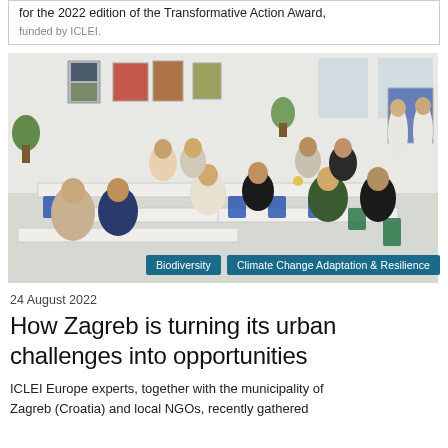for the 2022 edition of the Transformative Action Award, funded by ICLEI.
[Figure (photo): Group of people seated around long white tables in a bright meeting room with artwork on the walls, attending a workshop or conference event.]
Biodiversity | Climate Change Adaptation & Resilience
24 August 2022
How Zagreb is turning its urban challenges into opportunities
ICLEI Europe experts, together with the municipality of Zagreb (Croatia) and local NGOs, recently gathered